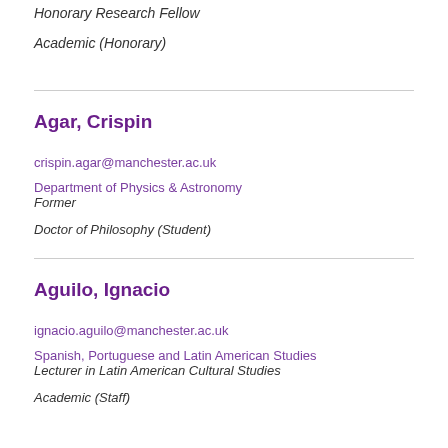Honorary Research Fellow
Academic (Honorary)
Agar, Crispin
crispin.agar@manchester.ac.uk
Department of Physics & Astronomy
Former
Doctor of Philosophy (Student)
Aguilo, Ignacio
ignacio.aguilo@manchester.ac.uk
Spanish, Portuguese and Latin American Studies
Lecturer in Latin American Cultural Studies
Academic (Staff)